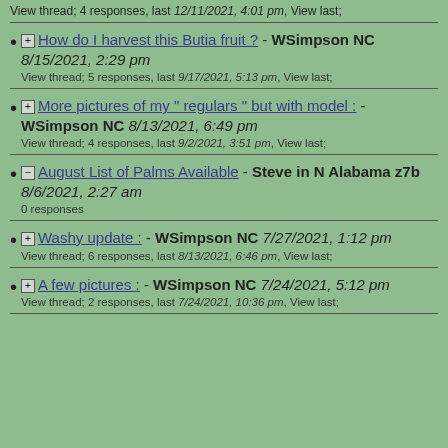View thread; 4 responses, last 12/11/2021, 4:01 pm, View last;
How do I harvest this Butia fruit ? - WSimpson NC 8/15/2021, 2:29 pm
View thread; 5 responses, last 9/17/2021, 5:13 pm, View last;
More pictures of my " regulars " but with model : - WSimpson NC 8/13/2021, 6:49 pm
View thread; 4 responses, last 9/2/2021, 3:51 pm, View last;
August List of Palms Available - Steve in N Alabama z7b 8/6/2021, 2:27 am
0 responses
Washy update : - WSimpson NC 7/27/2021, 1:12 pm
View thread; 6 responses, last 8/13/2021, 6:46 pm, View last;
A few pictures : - WSimpson NC 7/24/2021, 5:12 pm
View thread; 2 responses, last 7/24/2021, 10:36 pm, View last;